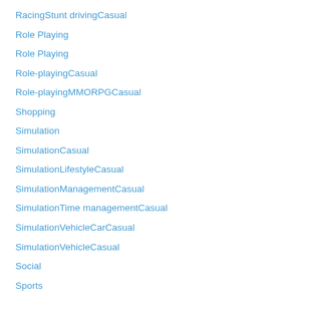RacingStunt drivingCasual
Role Playing
Role Playing
Role-playingCasual
Role-playingMMORPGCasual
Shopping
Simulation
SimulationCasual
SimulationLifestyleCasual
SimulationManagementCasual
SimulationTime managementCasual
SimulationVehicleCarCasual
SimulationVehicleCasual
Social
Sports